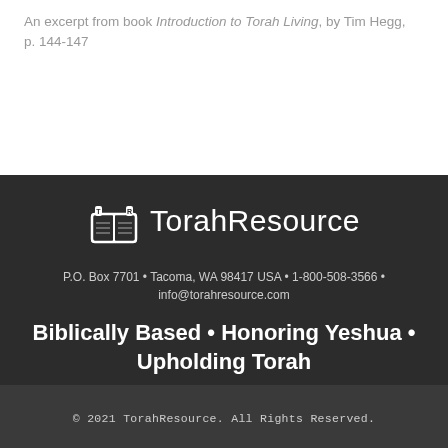An excerpt from book Introduction to Torah Living, by Tim Hegg, p. 144-147
[Figure (logo): TorahResource logo with Torah scroll icon and text 'TorahResource']
P.O. Box 7701 • Tacoma, WA 98417 USA • 1-800-508-3566 • info@torahresource.com
Biblically Based • Honoring Yeshua • Upholding Torah
© 2021 TorahResource. All Rights Reserved.